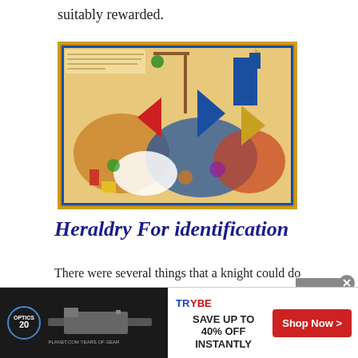suitably rewarded.
[Figure (illustration): Medieval illuminated manuscript image depicting a battle scene with knights, horses, flags, and a castle in the background. Colorful with blues, oranges, reds, and greens.]
Heraldry For identification
There were several things that a knight could do so that the families coat of arms or crest was seen in battle, firstly the
[Figure (other): Advertisement banner: Optics Planet 20 years of gear logo on left with dark background showing a rifle. Right side shows Trybe logo with text SAVE UP TO 40% OFF INSTANTLY and a red Shop Now button.]